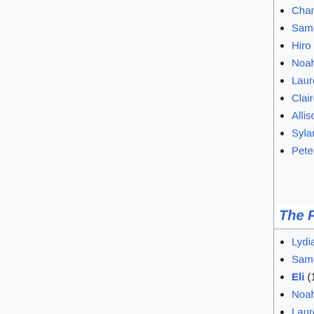Chandra (0)
Samuel (10)
Hiro (60)
Noah (64)
Lauren (2)
Claire (64)
Allison (4)
Sylar (54)
Peter (60)
Angela (45)
Doug Douglas (1)
Sandra (37)
Mr. Muggles (22)
Miss Lovegood (1)
Lydia (9)
Edgar (5)
Mohinder (52)
Joseph (2)
The Fifth Stage
Lydia (10)
Samuel (11)
Eli (1)
Noah (65)
Lauren (3)
Claire (65)
René (27)
Sylar (55)
Burly guy (1)
Little girl (1)